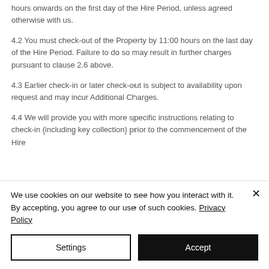hours onwards on the first day of the Hire Period, unless agreed otherwise with us.
4.2 You must check-out of the Property by 11:00 hours on the last day of the Hire Period. Failure to do so may result in further charges pursuant to clause 2.6 above.
4.3 Earlier check-in or later check-out is subject to availability upon request and may incur Additional Charges.
4.4 We will provide you with more specific instructions relating to check-in (including key collection) prior to the commencement of the Hire
We use cookies on our website to see how you interact with it. By accepting, you agree to our use of such cookies. Privacy Policy
Settings
Accept